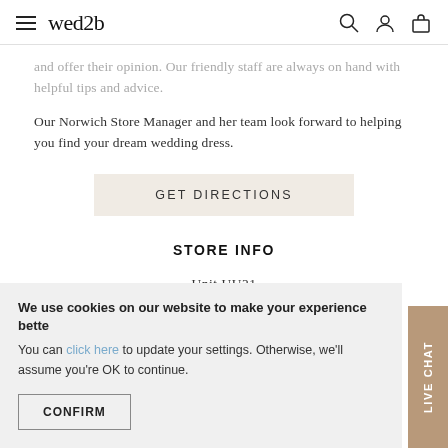wed2b
and offer their opinion. Our friendly staff are always on hand with helpful tips and advice.
Our Norwich Store Manager and her team look forward to helping you find your dream wedding dress.
GET DIRECTIONS
STORE INFO
Unit UU21
74 Castle Quarter
We use cookies on our website to make your experience bette
You can click here to update your settings. Otherwise, we'll assume you're OK to continue.
CONFIRM